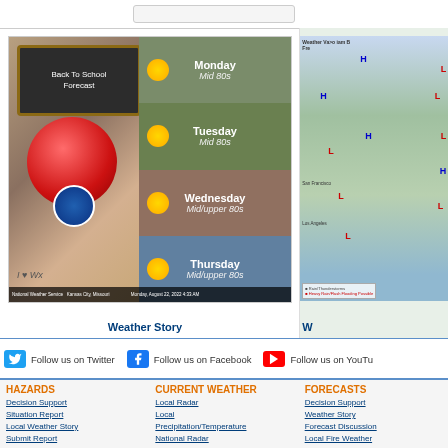[Figure (photo): Back to School weather forecast image from National Weather Service Kansas City Missouri, showing an apple with NOAA sticker, chalkboard, and 4-day forecast panels for Monday through Thursday all showing Mid 80s or Mid/upper 80s temperatures. Monday August 22, 2022 4:33 AM.]
Weather Story
[Figure (map): Partial weather map of western United States showing high and low pressure systems, with legend for Rain/Thunderstorms and Heavy Rain/Flash Flooding Possible]
W
Follow us on Twitter
Follow us on Facebook
Follow us on YouTube
HAZARDS
Decision Support
Situation Report
Local Weather Story
Submit Report
Storm Prediction Center
Weather Prediction Center
National Hurricane Center
CURRENT WEATHER
Local Radar
Local Precipitation/Temperature
National Radar
Satellite
Observations
Observed Precipitation
FORECASTS
Decision Support
Weather Story
Forecast Discussion
Local Fire Weather
National Fire Weather
Aviation Weather
FAA Center Weather